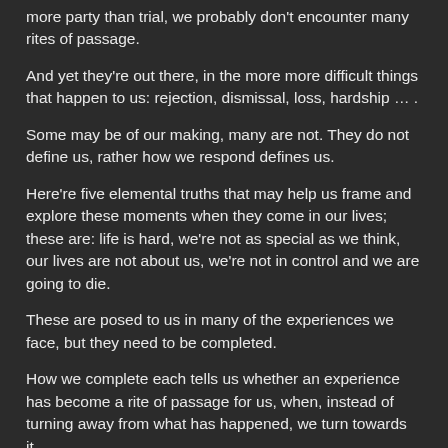more party than trial, we probably don't encounter many rites of passage.
And yet they're out there, in the more more difficult things that happen to us: rejection, dismissal, loss, hardship … .
Some may be of our making, many are not. They do not define us, rather how we respond defines us.
Here're five elemental truths that may help us frame and explore these moments when they come in our lives; these are: life is hard, we're not as special as we think, our lives are not about us, we're not in control and we are going to die.
These are posed to us in many of the experiences we face, but they need to be completed.
How we complete each tells us whether an experience has become a rite of passage for us, when, instead of turning away from what has happened, we turn towards it.
(*From Richard Sennett's Together. These were men and